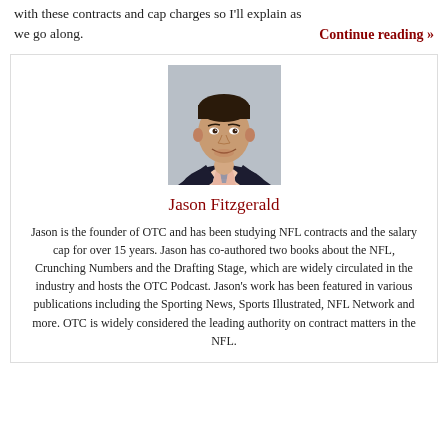with these contracts and cap charges so I'll explain as we go along.
Continue reading »
[Figure (photo): Headshot of Jason Fitzgerald, a man in a dark suit with a light pink shirt and striped tie, smiling, against a grey background.]
Jason Fitzgerald
Jason is the founder of OTC and has been studying NFL contracts and the salary cap for over 15 years. Jason has co-authored two books about the NFL, Crunching Numbers and the Drafting Stage, which are widely circulated in the industry and hosts the OTC Podcast. Jason's work has been featured in various publications including the Sporting News, Sports Illustrated, NFL Network and more. OTC is widely considered the leading authority on contract matters in the NFL.